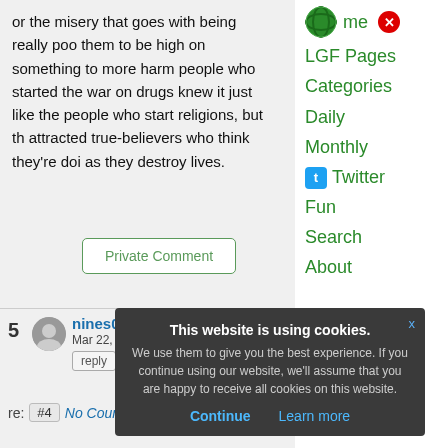or the misery that goes with being really poo them to be high on something to more harm people who started the war on drugs knew it just like the people who start religions, but th attracted true-believers who think they're doi as they destroy lives.
Private Comment
5  nines09  Mar 22, 2016 • 5:58:58pm  reply  quote
re: #4 No Country For Old Haters
me  LGF Pages  Categories  Daily  Monthly  Twitter  Fun  Search  About
This website is using cookies. We use them to give you the best experience. If you continue using our website, we'll assume that you are happy to receive all cookies on this website. Continue  Learn more